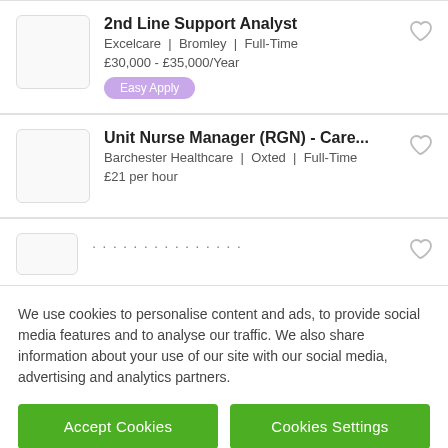2nd Line Support Analyst — Excelcare | Bromley | Full-Time — £30,000 - £35,000/Year — Easy Apply
Unit Nurse Manager (RGN) - Care... — Barchester Healthcare | Oxted | Full-Time — £21 per hour
We use cookies to personalise content and ads, to provide social media features and to analyse our traffic. We also share information about your use of our site with our social media, advertising and analytics partners.
Accept Cookies | Cookies Settings